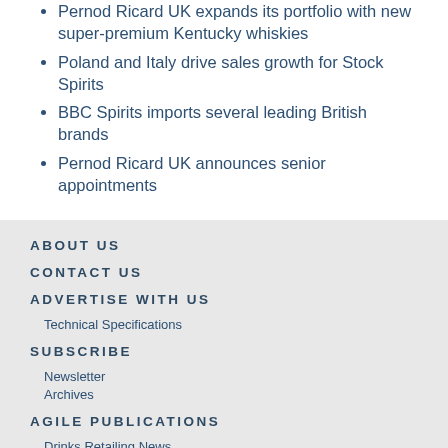Pernod Ricard UK expands its portfolio with new super-premium Kentucky whiskies
Poland and Italy drive sales growth for Stock Spirits
BBC Spirits imports several leading British brands
Pernod Ricard UK announces senior appointments
ABOUT US
CONTACT US
ADVERTISE WITH US
Technical Specifications
SUBSCRIBE
Newsletter
Archives
AGILE PUBLICATIONS
Drinks Retailing News
Harpers Wine & Spirit
Class